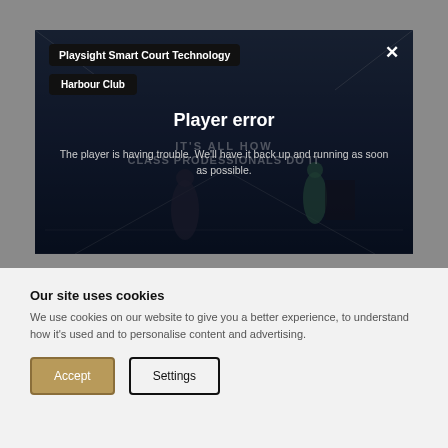[Figure (screenshot): Video player showing a court tennis/squash scene with dark overlay. Labels 'Playsight Smart Court Technology' and 'Harbour Club' in black pill-shaped tags. A white X close button in top-right. Player error message overlaid in center.]
Player error
The player is having trouble. We'll have it back up and running as soon as possible.
Our site uses cookies
We use cookies on our website to give you a better experience, to understand how it's used and to personalise content and advertising.